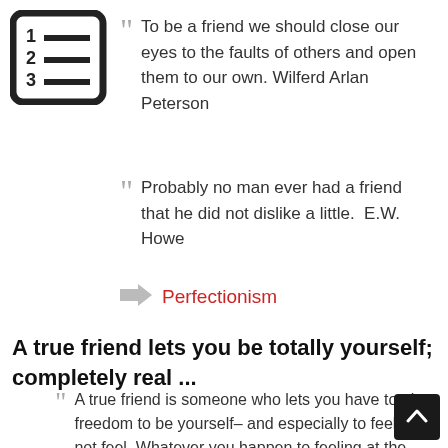[Figure (other): Numbered list icon — a box with lines representing a numbered list]
To be a friend we should close our eyes to the faults of others and open them to our own. Wilferd Arlan Peterson
Probably no man ever had a friend that he did not dislike a little.  E.W. Howe
Perfectionism
A true friend lets you be totally yourself; completely real ...
A true friend is someone who lets you have total freedom to be yourself– and especially to feel. Or, not feel. Whatever you happen to feeling at the moment is fine with them. That's